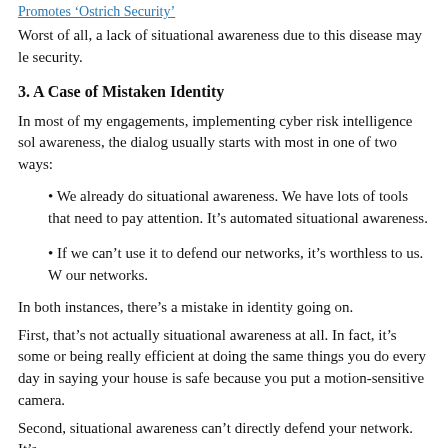Promotes 'Ostrich Security'
Worst of all, a lack of situational awareness due to this disease may le security.
3. A Case of Mistaken Identity
In most of my engagements, implementing cyber risk intelligence sol awareness, the dialog usually starts with most in one of two ways:
We already do situational awareness. We have lots of tools that need to pay attention. It's automated situational awareness.
If we can't use it to defend our networks, it's worthless to us. W our networks.
In both instances, there's a mistake in identity going on.
First, that's not actually situational awareness at all. In fact, it's some or being really efficient at doing the same things you do every day in saying your house is safe because you put a motion-sensitive camera.
Second, situational awareness can't directly defend your network. It's
But, without data from different levels and different perspectives insi informed methodology continuously evaluating threats and risks, nei